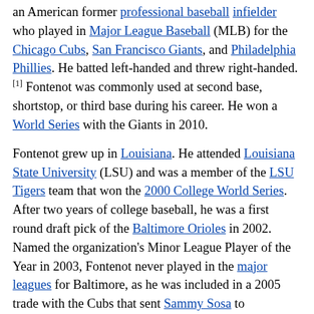an American former professional baseball infielder who played in Major League Baseball (MLB) for the Chicago Cubs, San Francisco Giants, and Philadelphia Phillies. He batted left-handed and threw right-handed.[1] Fontenot was commonly used at second base, shortstop, or third base during his career. He won a World Series with the Giants in 2010.
Fontenot grew up in Louisiana. He attended Louisiana State University (LSU) and was a member of the LSU Tigers team that won the 2000 College World Series. After two years of college baseball, he was a first round draft pick of the Baltimore Orioles in 2002. Named the organization's Minor League Player of the Year in 2003, Fontenot never played in the major leagues for Baltimore, as he was included in a 2005 trade with the Cubs that sent Sammy Sosa to Baltimore. Fontenot debuted briefly with the Cubs in 2005, but it was not until 2007 that he reached the major leagues full time. He batted .305 while primarily used as a bench player in 2008 and began 2009 as the Cubs' starting second baseman. However, Fontenot lost the role after batting only .230 through August 7. He was traded to the Giants in 2010, becoming part of the team's first World Series victory since 1954.
In 2011, Fontenot was receiving starting time in May due to an injury to Pablo Sandoval, but he missed a few weeks himself with a left groin injury. He was released by the Giants before the 2012